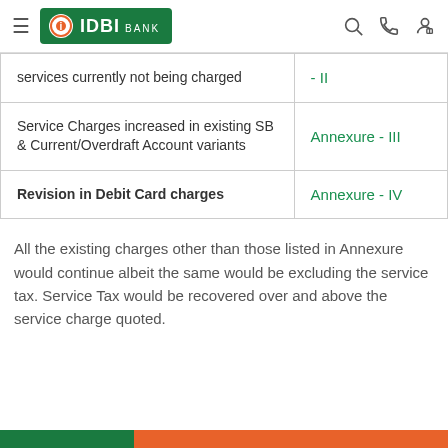IDBI Bank
|  |  |
| --- | --- |
| services currently not being charged | - II |
| Service Charges increased in existing SB & Current/Overdraft Account variants | Annexure - III |
| Revision in Debit Card charges | Annexure - IV |
All the existing charges other than those listed in Annexure would continue albeit the same would be excluding the service tax. Service Tax would be recovered over and above the service charge quoted.